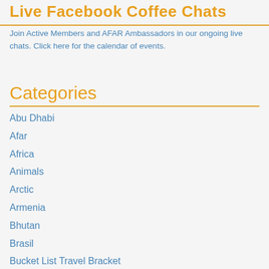Live Facebook Coffee Chats
Join Active Members and AFAR Ambassadors in our ongoing live chats. Click here for the calendar of events.
Categories
Abu Dhabi
Afar
Africa
Animals
Arctic
Armenia
Bhutan
Brasil
Bucket List Travel Bracket
Canada